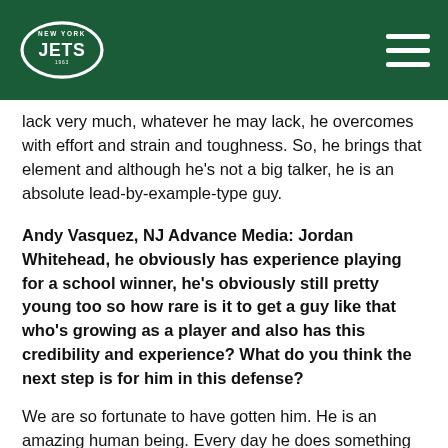[Figure (logo): New York Jets oval logo in white on dark green header background]
lack very much, whatever he may lack, he overcomes with effort and strain and toughness. So, he brings that element and although he's not a big talker, he is an absolute lead-by-example-type guy.
Andy Vasquez, NJ Advance Media: Jordan Whitehead, he obviously has experience playing for a school winner, he's obviously still pretty young too so how rare is it to get a guy like that who's growing as a player and also has this credibility and experience? What do you think the next step is for him in this defense?
We are so fortunate to have gotten him. He is an amazing human being. Every day he does something